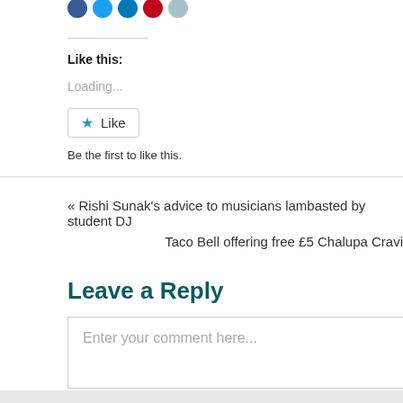[Figure (other): Row of social media share icon circles (blue/teal colors) partially visible at top]
Like this:
Loading...
Be the first to like this.
« Rishi Sunak's advice to musicians lambasted by student DJ
Taco Bell offering free £5 Chalupa Cravi
Leave a Reply
Enter your comment here...